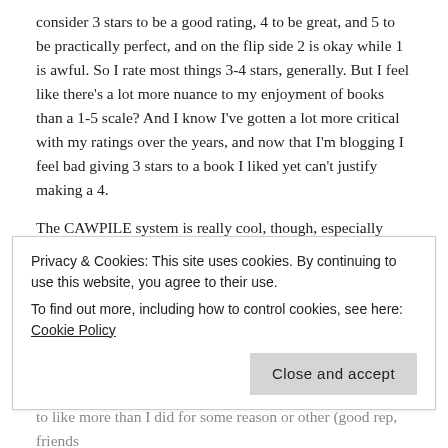consider 3 stars to be a good rating, 4 to be great, and 5 to be practically perfect, and on the flip side 2 is okay while 1 is awful. So I rate most things 3-4 stars, generally. But I feel like there's a lot more nuance to my enjoyment of books than a 1-5 scale? And I know I've gotten a lot more critical with my ratings over the years, and now that I'm blogging I feel bad giving 3 stars to a book I liked yet can't justify making a 4.
The CAWPILE system is really cool, though, especially when there are times I'd rate one aspect of a book a 4 but another a 2 – if anything, it gives more data to know what you like in books.
★ Liked by 1 person
REPLY
Privacy & Cookies: This site uses cookies. By continuing to use this website, you agree to their use.
To find out more, including how to control cookies, see here: Cookie Policy
Close and accept
to like more than I did for some reason or other (good rep, friends